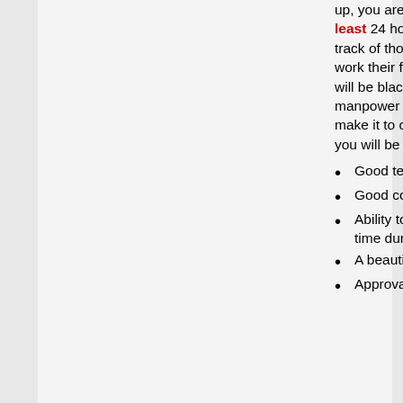up, you are contracting your soul to us for at least 24 hours during FanimeCon. We keep track of those that fail to show up or fail to work their full 24 hours and such slackers will be blacklisted. Registration is a high-manpower department so those that do make it to our ranks must be dedicated! And you will be loved in return :3
Good teamwork
Good communication skills
Ability to commit at least 24 hours of your time during Fanime's Registration hours.
A beautifully bright and positive attitude!
Approval by a